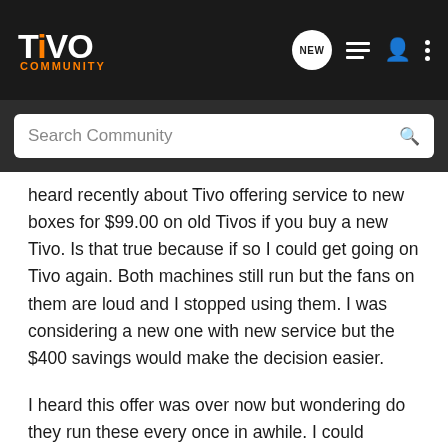TiVo Community
heard recently about Tivo offering service to new boxes for $99.00 on old Tivos if you buy a new Tivo. Is that true because if so I could get going on Tivo again. Both machines still run but the fans on them are loud and I stopped using them. I was considering a new one with new service but the $400 savings would make the decision easier.

I heard this offer was over now but wondering do they run these every once in awhile. I could subscribe to their news and wait for another one.

Anyone know?
Barb